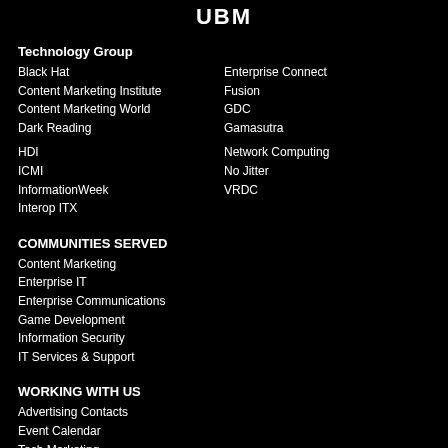UBM
Technology Group
Black Hat
Content Marketing Institute
Content Marketing World
Dark Reading
Enterprise Connect
Fusion
GDC
Gamasutra
HDI
ICMI
InformationWeek
Interop ITX
Network Computing
No Jitter
VRDC
COMMUNITIES SERVED
Content Marketing
Enterprise IT
Enterprise Communications
Game Development
Information Security
IT Services & Support
WORKING WITH US
Advertising Contacts
Event Calendar
Tech Marketing
Solutions
Contact Us